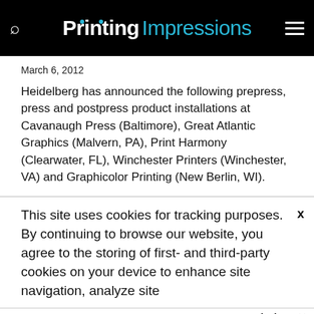Printing Impressions
March 6, 2012
Heidelberg has announced the following prepress, press and postpress product installations at Cavanaugh Press (Baltimore), Great Atlantic Graphics (Malvern, PA), Print Harmony (Clearwater, FL), Winchester Printers (Winchester, VA) and Graphicolor Printing (New Berlin, WI).
This site uses cookies for tracking purposes. By continuing to browse our website, you agree to the storing of first- and third-party cookies on your device to enhance site navigation, analyze site usage, and assist in our marketing and
Accept and Close ✕
Your browser settings do not allow cross-site tracking for advertising. Click on this page to allow AdRoll to use cross-site tracking to tailor ads to you. Learn more or opt out of this AdRoll tracking by clicking here. This message only appears once.